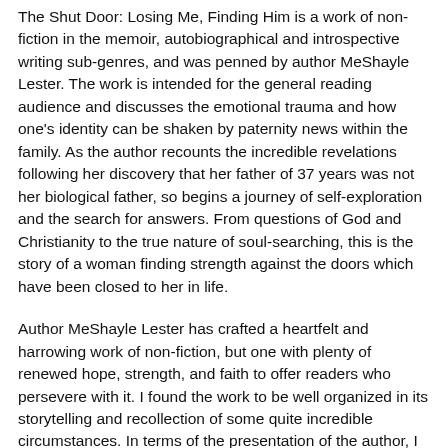The Shut Door: Losing Me, Finding Him is a work of non-fiction in the memoir, autobiographical and introspective writing sub-genres, and was penned by author MeShayle Lester. The work is intended for the general reading audience and discusses the emotional trauma and how one's identity can be shaken by paternity news within the family. As the author recounts the incredible revelations following her discovery that her father of 37 years was not her biological father, so begins a journey of self-exploration and the search for answers. From questions of God and Christianity to the true nature of soul-searching, this is the story of a woman finding strength against the doors which have been closed to her in life.
Author MeShayle Lester has crafted a heartfelt and harrowing work of non-fiction, but one with plenty of renewed hope, strength, and faith to offer readers who persevere with it. I found the work to be well organized in its storytelling and recollection of some quite incredible circumstances. In terms of the presentation of the author, I found that the use of close narration created a deeper emotional resonance, and I felt that there was a raw, honest quality to the prose which makes it highly readable and